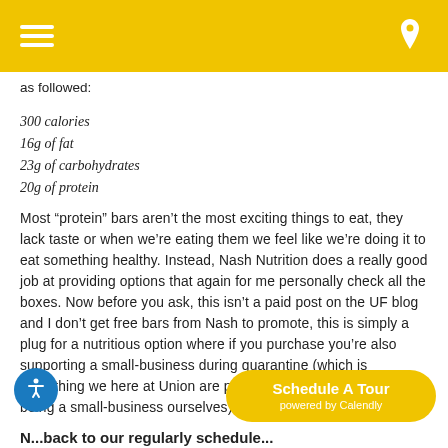[hamburger menu icon] [location pin icon]
as followed:
300 calories
16g of fat
23g of carbohydrates
20g of protein
Most “protein” bars aren’t the most exciting things to eat, they lack taste or when we’re eating them we feel like we’re doing it to eat something healthy. Instead, Nash Nutrition does a really good job at providing options that again for me personally check all the boxes. Now before you ask, this isn’t a paid post on the UF blog and I don’t get free bars from Nash to promote, this is simply a plug for a nutritious option where if you purchase you’re also supporting a small-business during quarantine (which is something we here at Union are promoting on a weekly basis, being a small-business ourselves).
N... back to our regularly schedule...
If you...
[Figure (other): Blue circular accessibility icon button in bottom-left]
[Figure (other): Yellow rounded rectangle Schedule A Tour button powered by Calendly]